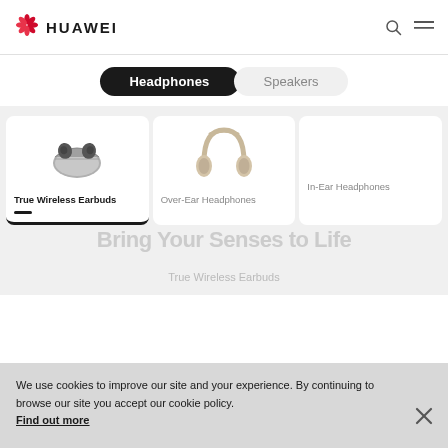HUAWEI
Headphones | Speakers
[Figure (screenshot): Three product category cards: True Wireless Earbuds (active, with earbuds image), Over-Ear Headphones (with over-ear headphone image), In-Ear Headphones (no image shown)]
We use cookies to improve our site and your experience. By continuing to browse our site you accept our cookie policy. Find out more